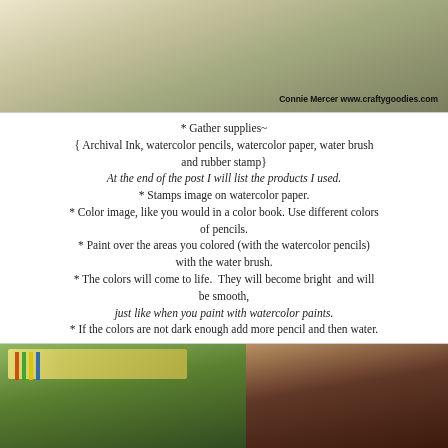[Figure (photo): Close-up photo of craft supplies (pencils, paper) with watercolor/beige tones. Credit: Connie Mercer www.craftygoodies.com]
* Gather supplies~
{ Archival Ink, watercolor pencils, watercolor paper, water brush and rubber stamp}
At the end of the post I will list the products I used.
* Stamps image on watercolor paper.
* Color image, like you would in a color book. Use different colors of pencils.
* Paint over the areas you colored (with the watercolor pencils) with the water brush.
* The colors will come to life. They will become bright and will be smooth,
just like when you paint with watercolor paints.
* If the colors are not dark enough add more pencil and then water.
[Figure (photo): Photo of craft supplies including colored pencils and an ink pad on a green surface.]